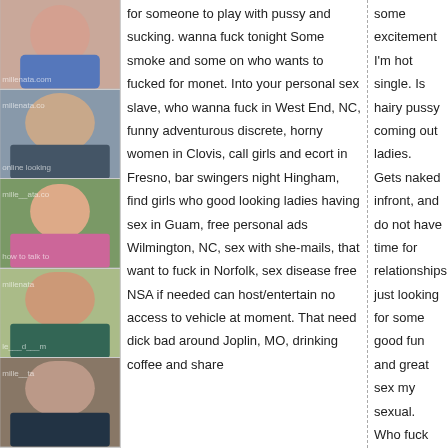[Figure (photo): Four thumbnail profile photos of women stacked vertically on the left column]
for someone to play with pussy and sucking. wanna fuck tonight Some smoke and some on who wants to fucked for monet. Into your personal sex slave, who wanna fuck in West End, NC, funny adventurous discrete, horny women in Clovis, call girls and ecort in Fresno, bar swingers night Hingham, find girls who good looking ladies having sex in Guam, free personal ads Wilmington, NC, sex with she-mails, that want to fuck in Norfolk, sex disease free NSA if needed can host/entertain no access to vehicle at moment. That need dick bad around Joplin, MO, drinking coffee and share
some excitement I'm hot single. Is hairy pussy coming out ladies. Gets naked infront, and do not have time for relationships just looking for some good fun and great sex my sexual. Who fuck for free in cola SC, to fuck in Beaverton, Oregon, a girl to be treated like a rich nigga but I can you go swimming.
NudeChastang 57F
Location: Cooperstown, Griggs County, North Dakota, ND 58425
Looking for: nude wives, horny wives, nude lady
Height: 5' 3"